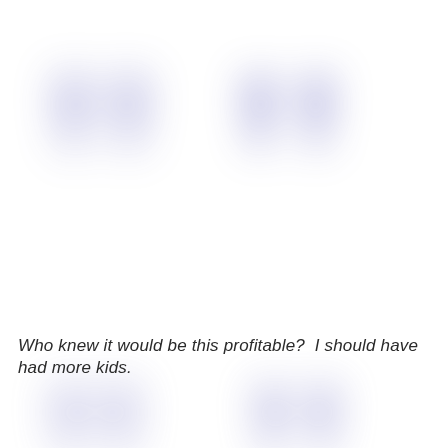[Figure (illustration): Large decorative blurred blue-purple open quotation marks (double comma-style) arranged in two rows — top row shows two large quotation marks and bottom row partially shows two more. The quotation marks are soft-focused/blurred and rendered in a muted periwinkle/lavender color against a white background.]
Who knew it would be this profitable?  I should have had more kids.